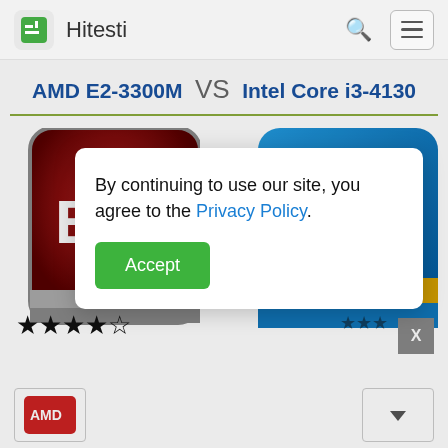Hitesti
AMD E2-3300M VS Intel Core i3-4130
[Figure (screenshot): AMD E2-3300M processor chip image (red/dark, partially visible on left side)]
[Figure (screenshot): Intel Core i3 processor chip image (blue, partially visible on right side)]
By continuing to use our site, you agree to the Privacy Policy.
Accept